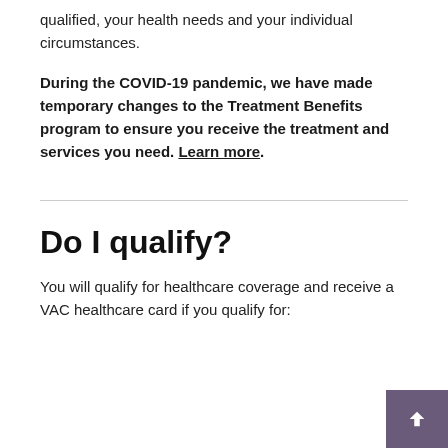qualified, your health needs and your individual circumstances.
During the COVID-19 pandemic, we have made temporary changes to the Treatment Benefits program to ensure you receive the treatment and services you need. Learn more.
Do I qualify?
You will qualify for healthcare coverage and receive a VAC healthcare card if you qualify for: